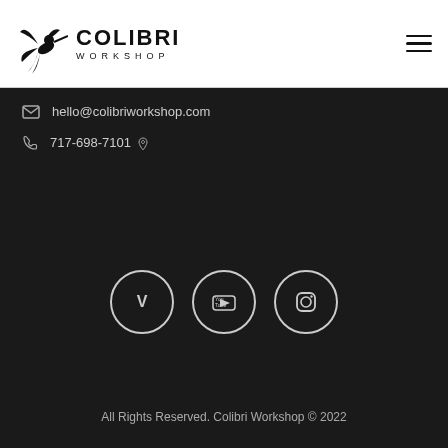[Figure (logo): Colibri Workshop logo with hummingbird graphic and text COLIBRI WORKSHOP]
hello@colibriworkshop.com
717-698-7101
[Figure (other): Three social media icons in circles: Vimeo, YouTube, Instagram]
All Rights Reserved. Colibri Workshop © 2022